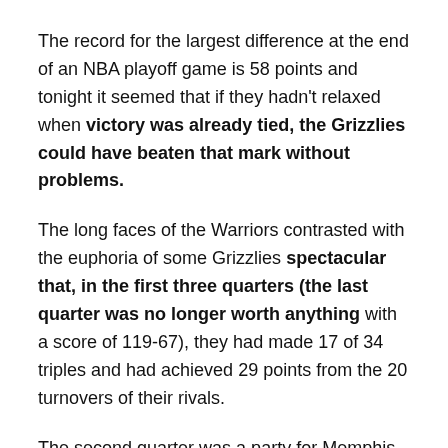The record for the largest difference at the end of an NBA playoff game is 58 points and tonight it seemed that if they hadn't relaxed when victory was already tied, the Grizzlies could have beaten that mark without problems.
The long faces of the Warriors contrasted with the euphoria of some Grizzlies spectacular that, in the first three quarters (the last quarter was no longer worth anything with a score of 119-67), they had made 17 of 34 triples and had achieved 29 points from the 20 turnovers of their rivals.
The second quarter was a party for Memphis (39-22) but the third was already the apotheosis (42-17). With all facets of the game under his command, from fighting from rebounding to paint control to intensity on defense, the Grizzlies had seven players over 10 points.